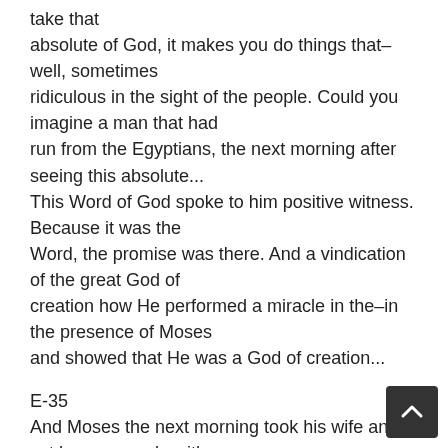take that absolute of God, it makes you do things that–well, sometimes ridiculous in the sight of the people. Could you imagine a man that had run from the Egyptians, the next morning after seeing this absolute... This Word of God spoke to him positive witness. Because it was the Word, the promise was there. And a vindication of the great God of creation how He performed a miracle in the–in the presence of Moses and showed that He was a God of creation...
E-35
And Moses the next morning took his wife and set her on a mule with a–the kid on her hip, and the–eighty years old, whiskers hanging to